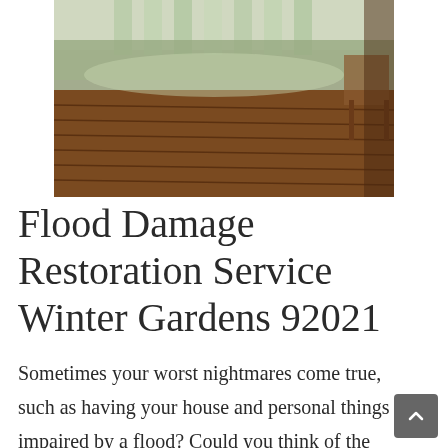[Figure (photo): A flooded hardwood floor interior, with water pooling on brown wooden planks, reflections visible, and what appears to be a chair and outdoor vegetation in the background.]
Flood Damage Restoration Service Winter Gardens 92021
Sometimes your worst nightmares come true, such as having your house and personal things impaired by a flood? Could you think of the chaos? Could you think of what cleanup from flood damage is? Do you need